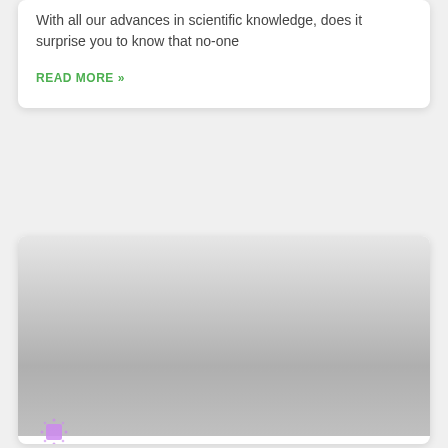With all our advances in scientific knowledge, does it surprise you to know that no-one
READ MORE »
[Figure (photo): Large hero image area with gradient from light gray at top to medium gray at bottom, with a small purple dotted square avatar badge in the lower-left corner]
Cartomancy: A Comprehensive Guide to a Deck of Cards